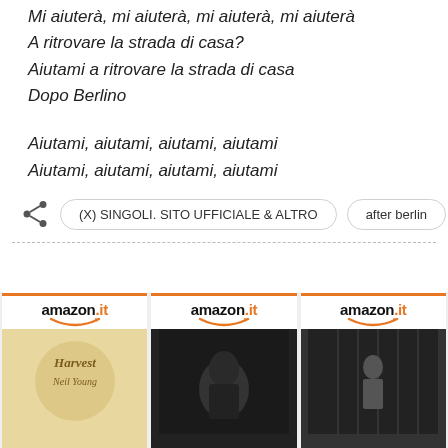Mi aiuterà, mi aiuterà, mi aiuterà, mi aiuterà
A ritrovare la strada di casa?
Aiutami a ritrovare la strada di casa
Dopo Berlino
Aiutami, aiutami, aiutami, aiutami
Aiutami, aiutami, aiutami, aiutami
(X) SINGOLI. SITO UFFICIALE & ALTRO
after berlin
[Figure (other): Three Amazon.it product cards showing album covers, each with Amazon.it logo and orange smile arrow. First card shows a Neil Young 'Harvest' album with beige/gold script lettering. Second card shows a black and white photo of a musician with guitar. Third card shows a dark/moody album cover with a figure.]